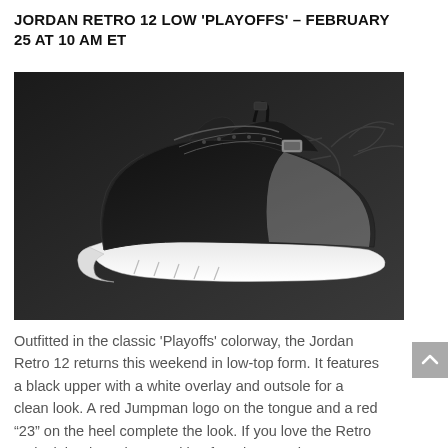JORDAN RETRO 12 LOW 'PLAYOFFS' – FEBRUARY 25 AT 10 AM ET
[Figure (photo): Jordan Retro 12 Low Playoffs sneaker — black upper with white midsole/outsole, shown on dark background with faint shoe graphic]
Outfitted in the classic 'Playoffs' colorway, the Jordan Retro 12 returns this weekend in low-top form. It features a black upper with a white overlay and outsole for a clean look. A red Jumpman logo on the tongue and a red "23" on the heel complete the look. If you love the Retro 12 look but have been waiting for a low-top, here's your chance. Men's $169.99, Grade School $129.99.